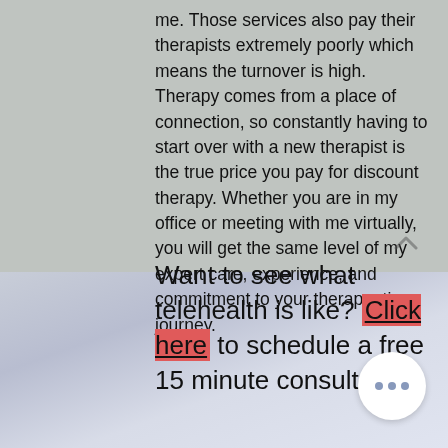me. Those services also pay their therapists extremely poorly which means the turnover is high. Therapy comes from a place of connection, so constantly having to start over with a new therapist is the true price you pay for discount therapy. Whether you are in my office or meeting with me virtually, you will get the same level of my expert care, experience, and commitment to your therapeutic journey.
Want to see what telehealth is like? Click here to schedule a free 15 minute consultation.